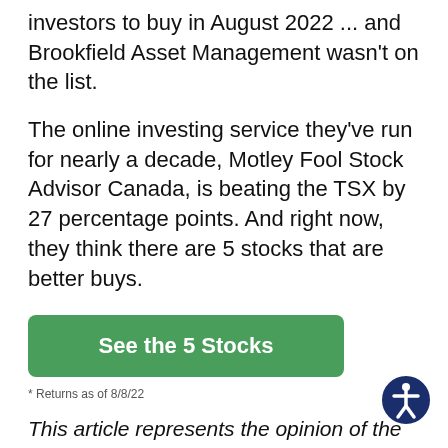investors to buy in August 2022 ... and Brookfield Asset Management wasn't on the list.
The online investing service they've run for nearly a decade, Motley Fool Stock Advisor Canada, is beating the TSX by 27 percentage points. And right now, they think there are 5 stocks that are better buys.
See the 5 Stocks
* Returns as of 8/8/22
This article represents the opinion of the writer, who may disagree with the "official" recommendation position of a Motley Fool